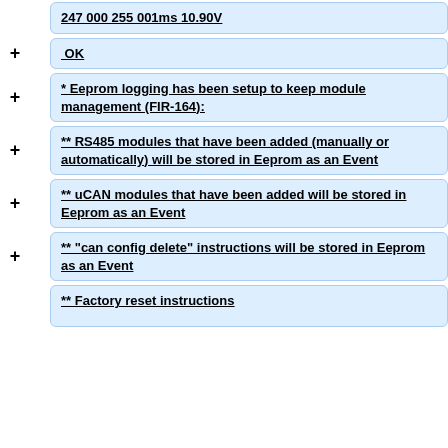247  000 255 001ms 10.90V
OK
* Eeprom logging has been setup to keep module management (FIR-164):
** RS485 modules that have been added (manually or automatically) will be stored in Eeprom as an Event
** uCAN modules that have been added will be stored in Eeprom as an Event
** "can config delete" instructions will be stored in Eeprom as an Event
** Factory reset instructions